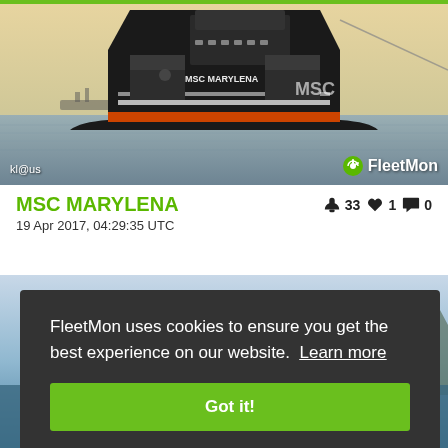[Figure (photo): Front bow view of MSC MARYLENA container ship at sea with calm water and warm sky. Watermark 'kl@us' at bottom left, FleetMon logo at bottom right.]
MSC MARYLENA
19 Apr 2017, 04:29:35 UTC
👍 33  ♥ 1  💬 0
FleetMon uses cookies to ensure you get the best experience on our website. Learn more
Got it!
[Figure (photo): Partial view of another ship/harbor scene visible beneath the cookie consent overlay.]